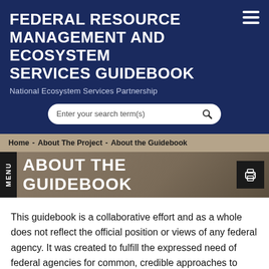FEDERAL RESOURCE MANAGEMENT AND ECOSYSTEM SERVICES GUIDEBOOK
National Ecosystem Services Partnership
[Figure (screenshot): Search bar with placeholder text 'Enter your search term(s)' and magnifying glass icon]
Home - About The Project - About the Guidebook
ABOUT THE GUIDEBOOK
This guidebook is a collaborative effort and as a whole does not reflect the official position or views of any federal agency. It was created to fulfill the expressed need of federal agencies for common, credible approaches to incorporate ecosystem services concepts into natural resource management, planning, and decision making.